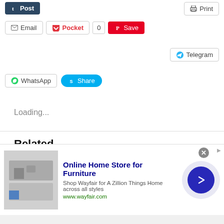[Figure (screenshot): Social sharing buttons row: Tumblr Post button (dark blue), Print button (top right)]
[Figure (screenshot): Social sharing buttons row: Email, Pocket (with count 0), Pinterest Save (red)]
[Figure (screenshot): Telegram button (top right)]
[Figure (screenshot): WhatsApp button and Skype Share button (blue pill)]
Loading...
Related
Who Will Win a Prize??? Guess my Finish Time at the Grete's Gallop 13.1 this Sunday!
October 1, 2013
[Figure (screenshot): Infolinks label bar (blue) at bottom left, partially showing text 'ray"']
[Figure (screenshot): Advertisement overlay: Online Home Store for Furniture - Wayfair ad with product image, close button, and arrow button]